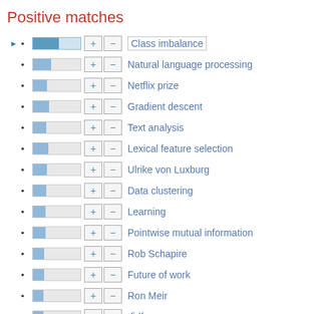Positive matches
Class imbalance
Natural language processing
Netflix prize
Gradient descent
Text analysis
Lexical feature selection
Ulrike von Luxburg
Data clustering
Learning
Pointwise mutual information
Rob Schapire
Future of work
Ron Meir
tfidf
Regular expression